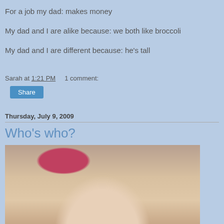For a job my dad: makes money
My dad and I are alike because: we both like broccoli
My dad and I are different because: he's tall
Sarah at 1:21 PM    1 comment:
Share
Thursday, July 9, 2009
Who's who?
[Figure (photo): Close-up photo of a baby's face, partially visible from the top of the frame, with a red/pink garment visible at the top]